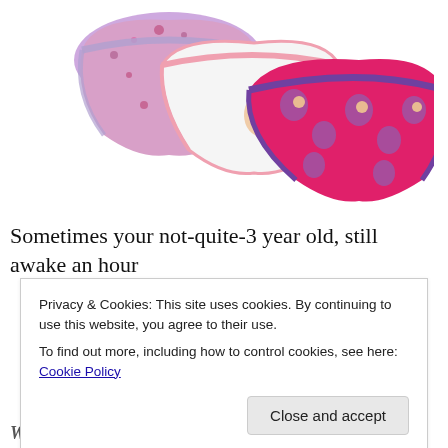[Figure (photo): Three children's Sofia the First themed underwear/briefs arranged overlapping: left one has colorful print on lavender/pink background, middle one is white with a Sofia character graphic, right/front one is hot pink with Sofia character prints all over.]
Sometimes your not-quite-3 year old, still awake an hour
Privacy & Cookies: This site uses cookies. By continuing to use this website, you agree to their use.
To find out more, including how to control cookies, see here: Cookie Policy
Close and accept
Why did you talk to Daddy like that?